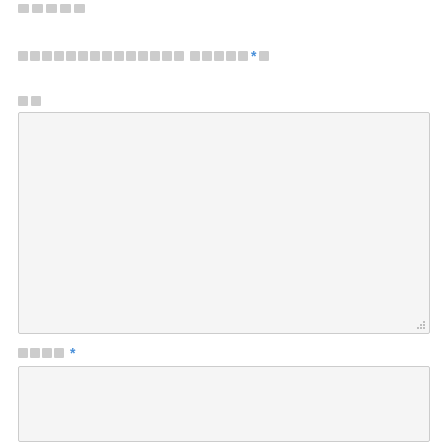[redacted label boxes]
[redacted section header with asterisk] *[box]
[redacted field label - 2 boxes]
[Figure (other): Large empty textarea input field with resize handle in bottom-right corner]
[redacted field label - 4 boxes] *
[Figure (other): Small empty input field]